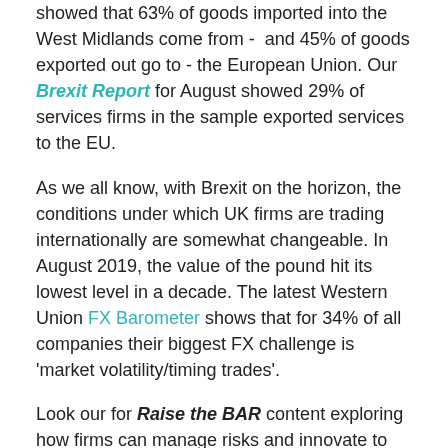showed that 63% of goods imported into the West Midlands come from - and 45% of goods exported out go to - the European Union. Our Brexit Report for August showed 29% of services firms in the sample exported services to the EU.
As we all know, with Brexit on the horizon, the conditions under which UK firms are trading internationally are somewhat changeable. In August 2019, the value of the pound hit its lowest level in a decade. The latest Western Union FX Barometer shows that for 34% of all companies their biggest FX challenge is 'market volatility/timing trades'.
Look our for Raise the BAR content exploring how firms can manage risks and innovate to find ongoing success in the global marketplace between the 16th and 20th September: